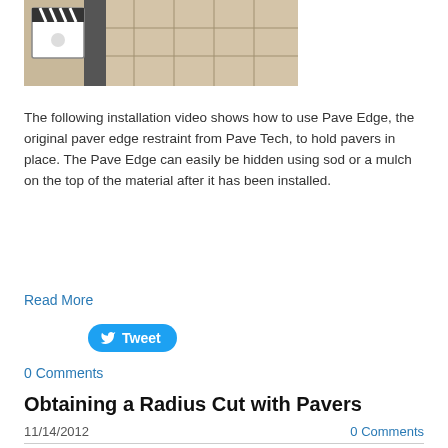[Figure (screenshot): Video thumbnail showing paver installation with a clapperboard icon overlay in the upper left corner]
The following installation video shows how to use Pave Edge, the original paver edge restraint from Pave Tech, to hold pavers in place. The Pave Edge can easily be hidden using sod or a mulch on the top of the material after it has been installed.
Read More
[Figure (screenshot): Twitter Tweet button with bird icon]
0 Comments
Obtaining a Radius Cut with Pavers
11/14/2012
0 Comments
[Figure (photo): Photo showing a radius cut being made on pavers with tools visible]